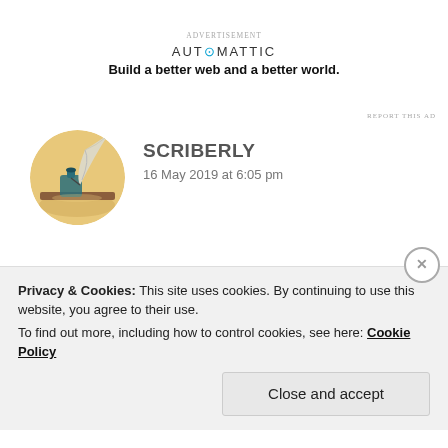[Figure (logo): Automattic logo with tagline 'Build a better web and a better world.']
REPORT THIS AD
[Figure (photo): Circular avatar with a quill pen in an ink bottle]
SCRIBERLY
16 May 2019 at 6:05 pm
This is such an adorable dialogue! I'm betting it's real 😁
★ Liked by 3 people
Privacy & Cookies: This site uses cookies. By continuing to use this website, you agree to their use.
To find out more, including how to control cookies, see here: Cookie Policy
Close and accept